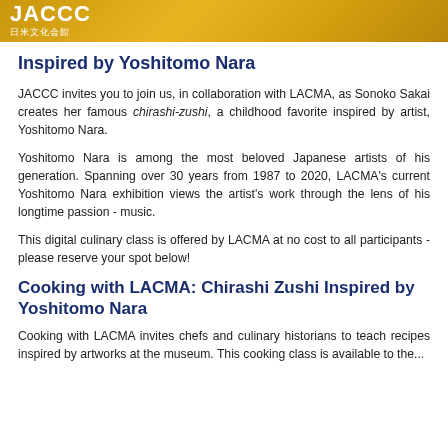JACCC 日米文化会館
Inspired by Yoshitomo Nara
JACCC invites you to join us, in collaboration with LACMA, as Sonoko Sakai creates her famous chirashi-zushi, a childhood favorite inspired by artist, Yoshitomo Nara.
Yoshitomo Nara is among the most beloved Japanese artists of his generation. Spanning over 30 years from 1987 to 2020, LACMA's current Yoshitomo Nara exhibition views the artist's work through the lens of his longtime passion - music.
This digital culinary class is offered by LACMA at no cost to all participants - please reserve your spot below!
Cooking with LACMA: Chirashi Zushi Inspired by Yoshitomo Nara
Cooking with LACMA invites chefs and culinary historians to teach recipes inspired by artworks at the museum. This cooking class is available to the...